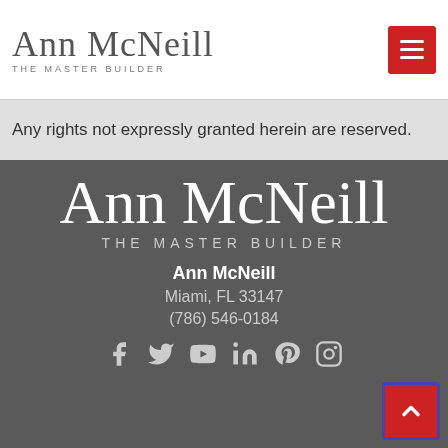[Figure (logo): Ann McNeill The Master Builder logo in script font with hamburger menu button]
Any rights not expressly granted herein are reserved.
[Figure (logo): Ann McNeill The Master Builder large footer logo in script font on dark gray background]
Ann McNeill
Miami, FL 33147
(786) 546-0184
[Figure (infographic): Social media icons: Facebook, Twitter, YouTube, LinkedIn, Pinterest, Instagram]